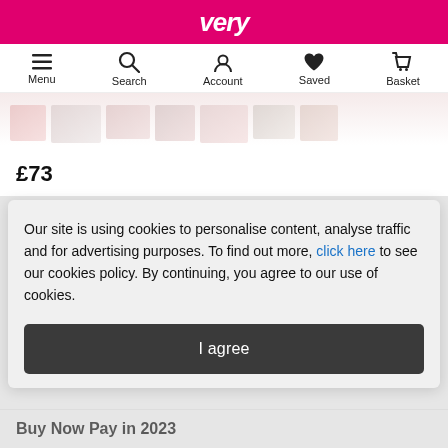very
[Figure (screenshot): Navigation bar with Menu, Search, Account, Saved, Basket icons]
[Figure (photo): Partial product image strip showing cosmetic/beauty products]
£73
E... (partially obscured product title)
E... (partially obscured product subtitle)
★ (star rating, partially obscured)
Our site is using cookies to personalise content, analyse traffic and for advertising purposes. To find out more, click here to see our cookies policy. By continuing, you agree to our use of cookies.
I agree
Buy Now Pay in 2023